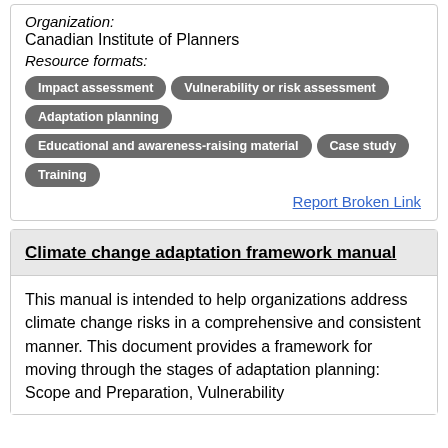Organization:
Canadian Institute of Planners
Resource formats:
Impact assessment
Vulnerability or risk assessment
Adaptation planning
Educational and awareness-raising material
Case study
Training
Report Broken Link
Climate change adaptation framework manual
This manual is intended to help organizations address climate change risks in a comprehensive and consistent manner. This document provides a framework for moving through the stages of adaptation planning: Scope and Preparation, Vulnerability